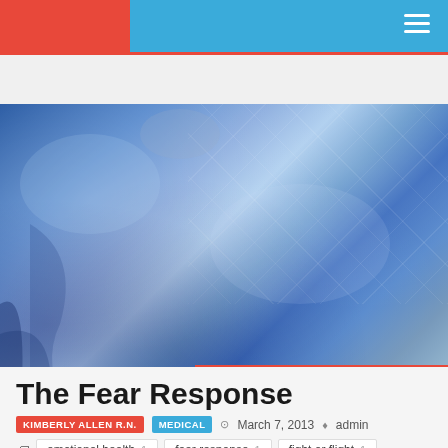Navigation bar with logo and hamburger menu
[Figure (photo): Close-up photo of a patient in a blue quilted hospital gown, showing fabric folds and draping. Social share bar overlay reads: 0 shares with Facebook, Twitter, Google+, Pinterest, LinkedIn icons.]
The Fear Response
KIMBERLY ALLEN R.N.   MEDICAL   March 7, 2013   admin
emotional health  1
fear response  1
fight or flight  1